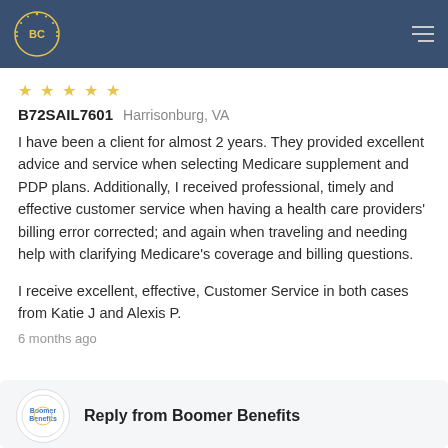[Figure (logo): BC logo in gold circle on dark blue navigation bar with hamburger menu icon]
[Figure (other): Five gold star rating icons]
B72SAIL7601  Harrisonburg, VA
I have been a client for almost 2 years. They provided excellent advice and service when selecting Medicare supplement and PDP plans. Additionally, I received professional, timely and effective customer service when having a health care providers' billing error corrected; and again when traveling and needing help with clarifying Medicare's coverage and billing questions.
I receive excellent, effective, Customer Service in both cases from Katie J and Alexis P.
6 months ago
Reply from Boomer Benefits